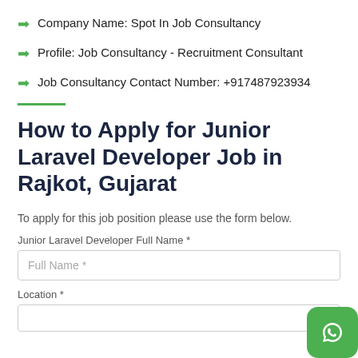Company Name: Spot In Job Consultancy
Profile: Job Consultancy - Recruitment Consultant
Job Consultancy Contact Number: +917487923934
How to Apply for Junior Laravel Developer Job in Rajkot, Gujarat
To apply for this job position please use the form below.
Junior Laravel Developer Full Name *
Full Name *
Location *